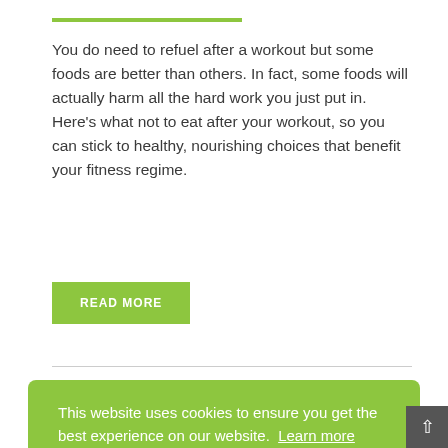You do need to refuel after a workout but some foods are better than others. In fact, some foods will actually harm all the hard work you just put in. Here’s what not to eat after your workout, so you can stick to healthy, nourishing choices that benefit your fitness regime.
READ MORE
This website uses cookies to ensure you get the best experience on our website.  Learn more
Got it